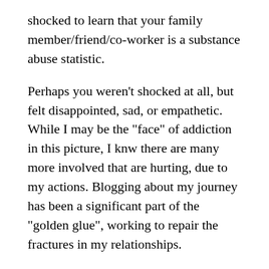shocked to learn that your family member/friend/co-worker is a substance abuse statistic.
Perhaps you weren’t shocked at all, but felt disappointed, sad, or empathetic. While I may be the “face” of addiction in this picture, I knw there are many more involved that are hurting, due to my actions. Blogging about my journey has been a significant part of the “golden glue”, working to repair the fractures in my relationships.
And now....May 17th, 2018.
Another year has passed and I have another opportunity to reflect on my transformation. I want to honor the broken pieces while looking forward and becoming myself into what I have to...